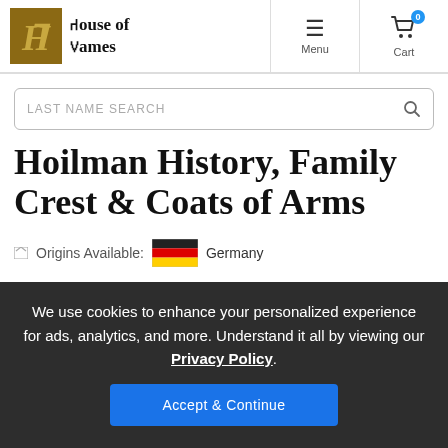[Figure (logo): House of Names logo with gothic H in brown box and gothic text]
[Figure (screenshot): Navigation bar with Menu hamburger icon and Cart icon with 0 badge]
LAST NAME SEARCH
Hoilman History, Family Crest & Coats of Arms
Origins Available: Germany (German flag)
We use cookies to enhance your personalized experience for ads, analytics, and more. Understand it all by viewing our Privacy Policy.
Accept & Continue